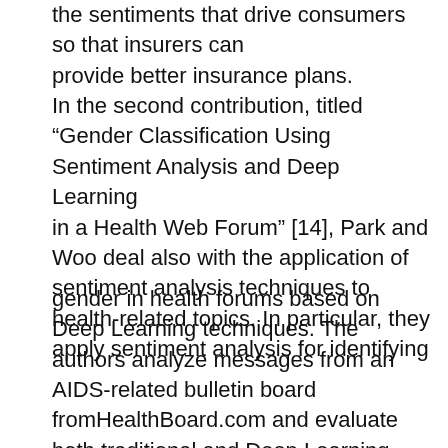the sentiments that drive consumers so that insurers can provide better insurance plans. In the second contribution, titled “Gender Classification Using Sentiment Analysis and Deep Learning in a Health Web Forum” [14], Park and Woo deal also with the application of sentiment analysis techniques to health-related topics. In particular, they apply sentiment analysis for identifying
gender in health forums based on Deep Learning techniques. The authors analyze messages from an AIDS-related bulletin board fromHealthBoard.com and evaluate both traditional and Deep Learning techniques for gender classification. In the third approach [15], titled “Personality or Value: A Comparative Study of Psychographic